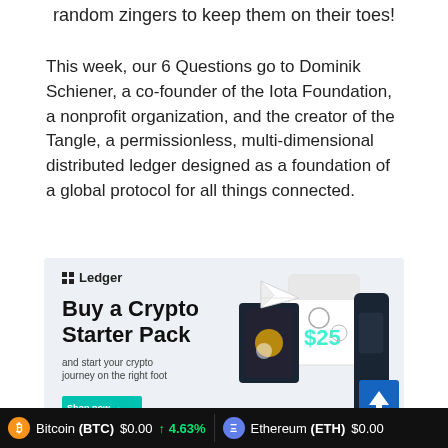random zingers to keep them on their toes!
This week, our 6 Questions go to Dominik Schiener, a co-founder of the Iota Foundation, a nonprofit organization, and the creator of the Tangle, a permissionless, multi-dimensional distributed ledger designed as a foundation of a global protocol for all things connected.
[Figure (illustration): Ledger advertisement banner: 'Buy a Crypto Starter Pack and start your crypto journey on the right foot' with a Shop now button and illustrations of crypto wallet hardware and gift cards]
Bitcoin (BTC) $0.00 ↑ 4.63%   Ethereum (ETH) $0.00